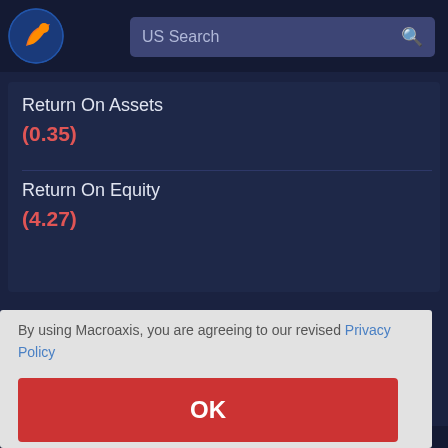[Figure (logo): Macroaxis globe logo with orange and blue swirl]
US Search
Return On Assets
(0.35)
Return On Equity
(4.27)
By using Macroaxis, you are agreeing to our revised Privacy Policy
OK
e value ce lyn value
of its book value, called Intrinsic Value, which is Brooklyn